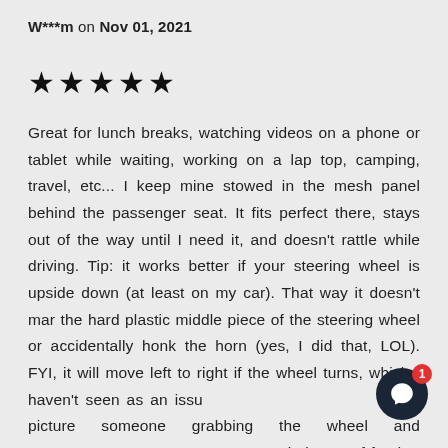W***m on Nov 01, 2021
★★★★★
Great for lunch breaks, watching videos on a phone or tablet while waiting, working on a lap top, camping, travel, etc... I keep mine stowed in the mesh panel behind the passenger seat. It fits perfect there, stays out of the way until I need it, and doesn't rattle while driving. Tip: it works better if your steering wheel is upside down (at least on my car). That way it doesn't mar the hard plastic middle piece of the steering wheel or accidentally honk the horn (yes, I did that, LOL). FYI, it will move left to right if the wheel turns, which I haven't seen as an issu could picture someone grabbing the wheel and c their tray of food to slide off. But the easy fix for that is